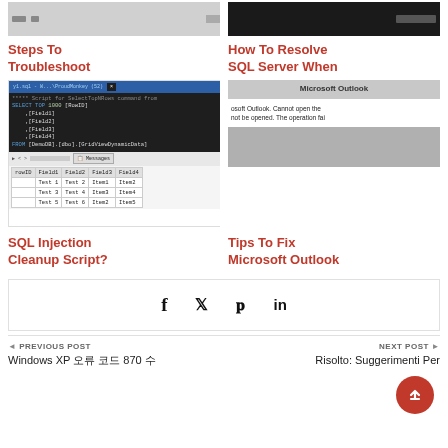[Figure (screenshot): Screenshot thumbnail for 'Steps To Troubleshoot' article showing a browser/app interface]
Steps To Troubleshoot
[Figure (screenshot): Screenshot thumbnail for 'How To Resolve SQL Server When' article showing dark interface]
How To Resolve SQL Server When
[Figure (screenshot): SQL code editor screenshot showing SELECT TOP 1000 query and results grid with Field1-4 columns]
SQL Injection Cleanup Script?
[Figure (screenshot): Microsoft Outlook error dialog and grayed-out window screenshots]
Tips To Fix Microsoft Outlook
Social share icons: Facebook, Twitter, Pinterest, LinkedIn
◄ PREVIOUS POST
Windows XP 오류 코드 870 수
NEXT POST ►
Risolto: Suggerimenti Per